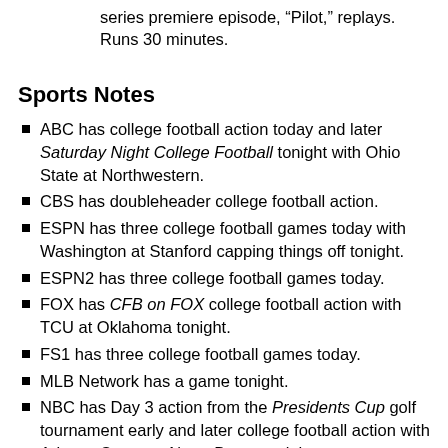series premiere episode, “Pilot,” replays. Runs 30 minutes.
Sports Notes
ABC has college football action today and later Saturday Night College Football tonight with Ohio State at Northwestern.
CBS has doubleheader college football action.
ESPN has three college football games today with Washington at Stanford capping things off tonight.
ESPN2 has three college football games today.
FOX has CFB on FOX college football action with TCU at Oklahoma tonight.
FS1 has three college football games today.
MLB Network has a game tonight.
NBC has Day 3 action from the Presidents Cup golf tournament early and later college football action with Arizona State vs. Notre Dame tonight.